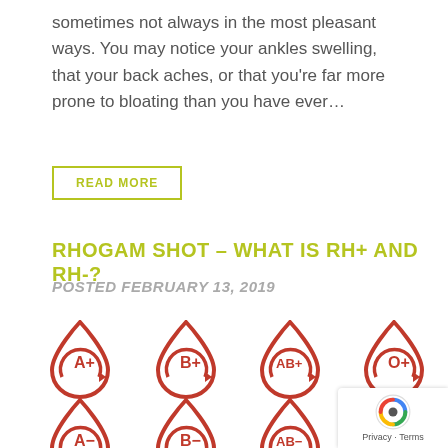sometimes not always in the most pleasant ways. You may notice your ankles swelling, that your back aches, or that you're far more prone to bloating than you have ever…
READ MORE
RHOGAM SHOT – WHAT IS RH+ AND RH-?
POSTED FEBRUARY 13, 2019
[Figure (illustration): Blood type icons showing A+, B+, AB+, O+ in top row and A-, B-, AB-, (O-) in bottom row, depicted as red blood drop icons with circular arrows and blood type labels inside.]